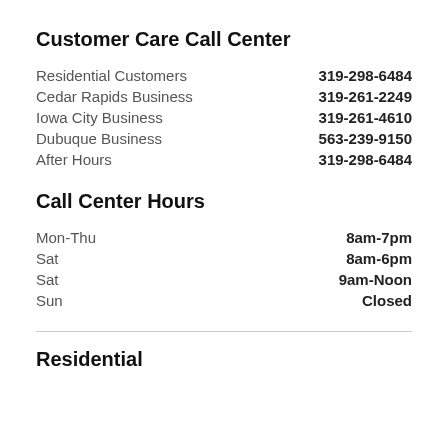Customer Care Call Center
Residential Customers    319-298-6484
Cedar Rapids Business    319-261-2249
Iowa City Business    319-261-4610
Dubuque Business    563-239-9150
After Hours    319-298-6484
Call Center Hours
Mon-Thu    8am-7pm
Sat    8am-6pm
Sat    9am-Noon
Sun    Closed
Residential